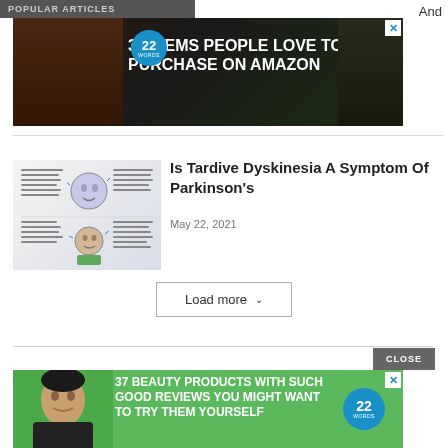POPULAR ARTICLES
[Figure (photo): Advertisement banner: '37 ITEMS PEOPLE LOVE TO PURCHASE ON AMAZON' with food/kitchen items on dark background, 22 Words badge, X close button]
And
[Figure (infographic): Thumbnail image for Tardive Dyskinesia article showing medical illustrations of facial symptoms]
Is Tardive Dyskinesia A Symptom Of Parkinson's
May 22, 2021
Load more
CLOSE
[Figure (photo): Advertisement banner: '37 BEAUTY PRODUCTS WITH SUCH GOOD REVIEWS YOU MIGHT WANT TO TRY THEM YOURSELF' on green background with woman applying face mask and 22 Words badge]